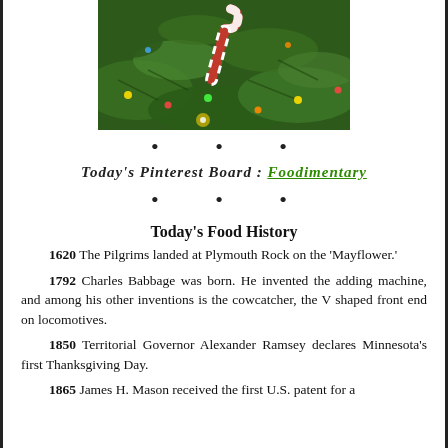[Figure (photo): A candy cane hanging on a Christmas tree with green pine branches and colorful lights in the background.]
• • •
Today's Pinterest Board : Foodimentary
• • •
Today's Food History
1620 The Pilgrims landed at Plymouth Rock on the 'Mayflower.'
1792 Charles Babbage was born. He invented the adding machine, and among his other inventions is the cowcatcher, the V shaped front end on locomotives.
1850 Territorial Governor Alexander Ramsey declares Minnesota's first Thanksgiving Day.
1865 James H. Mason received the first U.S. patent for a